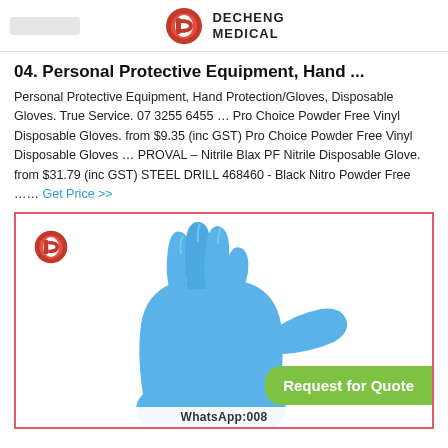DECHENG MEDICAL
04. Personal Protective Equipment, Hand ...
Personal Protective Equipment, Hand Protection/Gloves, Disposable Gloves. True Service. 07 3255 6455 … Pro Choice Powder Free Vinyl Disposable Gloves. from $9.35 (inc GST) Pro Choice Powder Free Vinyl Disposable Gloves … PROVAL – Nitrile Blax PF Nitrile Disposable Glove. from $31.79 (inc GST) STEEL DRILL 468460 - Black Nitro Powder Free …… Get Price >>
[Figure (photo): Blue disposable nitrile glove worn on a hand, shown against white background, with Decheng Medical logo in top left corner and WhatsApp contact partially visible at bottom. Also shows a 'Request for Quote' green button overlay.]